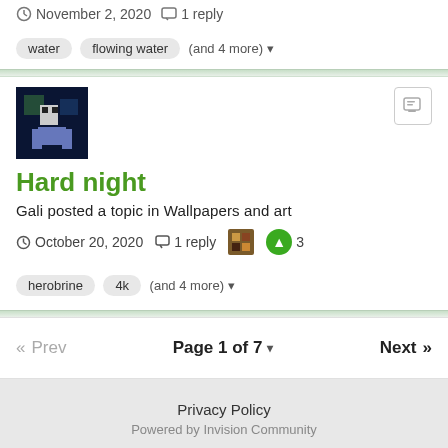November 2, 2020  1 reply
water  flowing water  (and 4 more)
Hard night
Gali posted a topic in Wallpapers and art
October 20, 2020  1 reply  3
herobrine  4k  (and 4 more)
Page 1 of 7
Privacy Policy
Powered by Invision Community